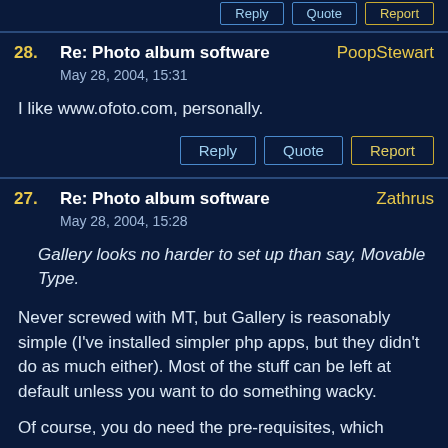Reply | Quote | Report (top buttons, partial)
28. Re: Photo album software — PoopStewart — May 28, 2004, 15:31
I like www.ofoto.com, personally.
Reply | Quote | Report
27. Re: Photo album software — Zathrus — May 28, 2004, 15:28
Gallery looks no harder to set up than say, Movable Type.
Never screwed with MT, but Gallery is reasonably simple (I've installed simpler php apps, but they didn't do as much either). Most of the stuff can be left at default unless you want to do something wacky.
Of course, you do need the pre-requisites, which